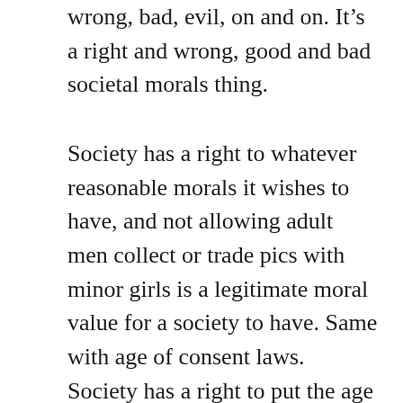wrong, bad, evil, on and on. It's a right and wrong, good and bad societal morals thing.
Society has a right to whatever reasonable morals it wishes to have, and not allowing adult men collect or trade pics with minor girls is a legitimate moral value for a society to have. Same with age of consent laws. Society has a right to put the age of consent for sex wherever it wants, anywhere from 14 in much of Europe to 18 in US federal law.
If people tried to set it higher than 18, I'd get mad because now society would be acting ridiculous. Below a certain age, different societies, states, nations, do not want us men